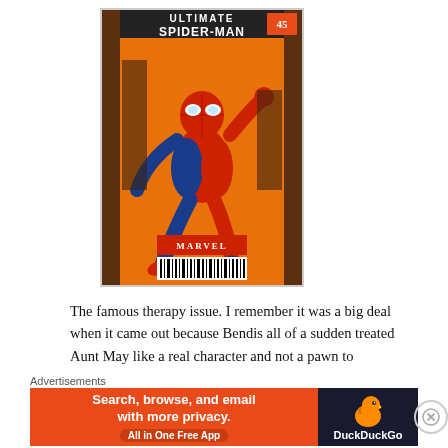[Figure (illustration): Comic book cover: Ultimate Spider-Man issue #45 by Marvel. Orange background with Spider-Man in red and blue costume leaping forward. Title reads 'ULTIMATE SPIDER-MAN' at top with issue number 45. Marvel logo and barcode at bottom.]
The famous therapy issue. I remember it was a big deal when it came out because Bendis all of a sudden treated Aunt May like a real character and not a pawn to occasionally put in danger.
He does a great job with the issue, especially the
Advertisements
[Figure (infographic): DuckDuckGo advertisement banner. Orange left section reads 'Search, browse, and email with more privacy. All in One Free App'. Dark right section shows DuckDuckGo duck logo and brand name.]